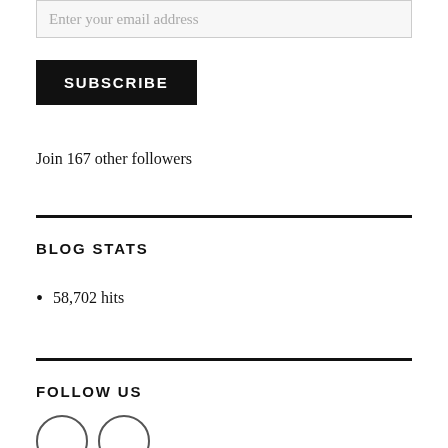Enter your email address
SUBSCRIBE
Join 167 other followers
BLOG STATS
58,702 hits
FOLLOW US
[Figure (other): Two circular social media icon buttons]